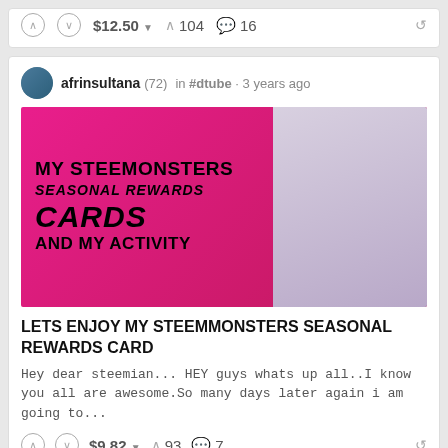$12.50  104  16
afrinsultana (72) in #dtube • 3 years ago
[Figure (photo): Post thumbnail image with pink textured background and photo of a woman. Text overlaid: MY STEEMMONSTERS SEASONAL REWARDS CARDS AND MY ACTIVITY]
LETS ENJOY MY STEEMMONSTERS SEASONAL REWARDS CARD
Hey dear steemian... HEY guys whats up all..I know you all are awesome.So many days later again i am going to...
$9.82  93  7